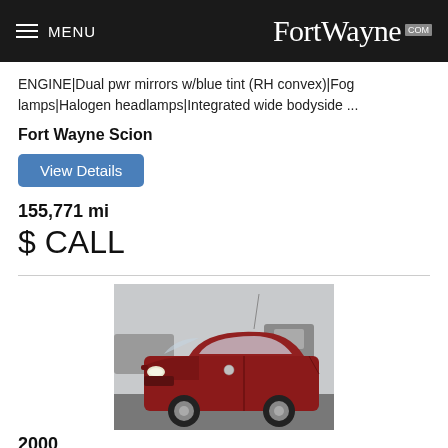MENU FortWayne.com
ENGINE|Dual pwr mirrors w/blue tint (RH convex)|Fog lamps|Halogen headlamps|Integrated wide bodyside ...
Fort Wayne Scion
View Details
155,771 mi
$ CALL
[Figure (photo): Red sedan car (year 2000) photographed in a dealer lot, front three-quarter view]
2000
Used
1